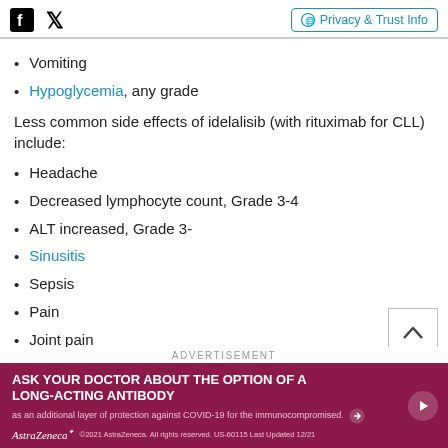Facebook Twitter | Privacy & Trust Info
Vomiting
Hypoglycemia, any grade
Less common side effects of idelalisib (with rituximab for CLL) include:
Headache
Decreased lymphocyte count, Grade 3-4
ALT increased, Grade 3-
Sinusitis
Sepsis
Pain
Joint pain
[Figure (other): Advertisement banner: AstraZeneca - Ask your doctor about the option of a long-acting antibody as an additional layer of protection against COVID-19 for the immunocompromised.]